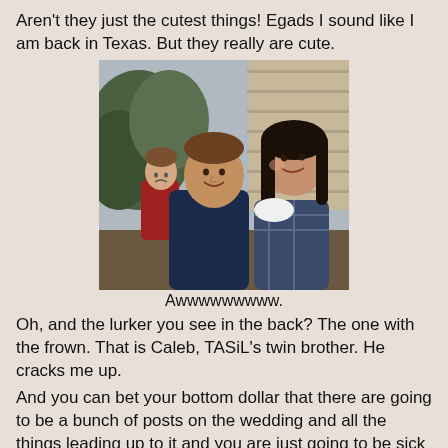Aren't they just the cutest things! Egads I sound like I am back in Texas. But they really are cute.
[Figure (photo): A young couple smiling closely together outdoors near stone wall and greenery. A third person, a young man with a frown, lurks in the background wearing a red jacket.]
Awwwwwwwww.
Oh, and the lurker you see in the back? The one with the frown. That is Caleb, TASiL's twin brother. He cracks me up.
And you can bet your bottom dollar that there are going to be a bunch of posts on the wedding and all the things leading up to it and you are just going to be sick of it.
But don't leave me. PLEASE!!!!!